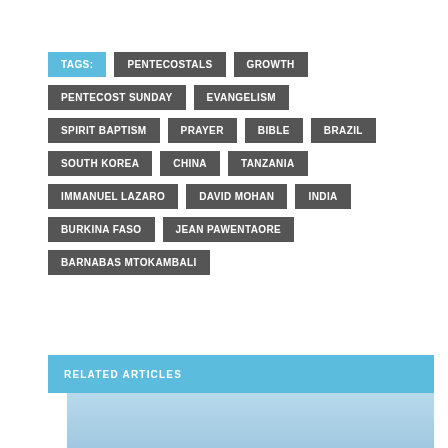TAGS: PENTECOSTALS GROWTH
PENTECOST SUNDAY EVANGELISM
SPIRIT BAPTISM PRAYER BIBLE BRAZIL
SOUTH KOREA CHINA TANZANIA
IMMANUEL LAZARO DAVID MOHAN INDIA
BURKINA FASO JEAN PAWENTAORE
BARNABAS MTOKAMBALI
RELATED ARTICLES
[Figure (photo): Light blue gradient image below Related Articles header]